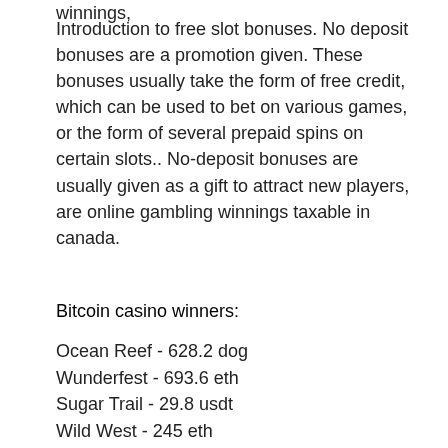winnings,
Introduction to free slot bonuses. No deposit bonuses are a promotion given. These bonuses usually take the form of free credit, which can be used to bet on various games, or the form of several prepaid spins on certain slots.. No-deposit bonuses are usually given as a gift to attract new players, are online gambling winnings taxable in canada.
Bitcoin casino winners:
Ocean Reef - 628.2 dog
Wunderfest - 693.6 eth
Sugar Trail - 29.8 usdt
Wild West - 245 eth
Samba Spins - 725 dog
Wuxia Princess - 10.8 ltc
Prohibition - 399.7 eth
Fruitastic - 592.6 eth
Mystic Monkeys - 7.9 usdt
Dragons Power - 421 bch